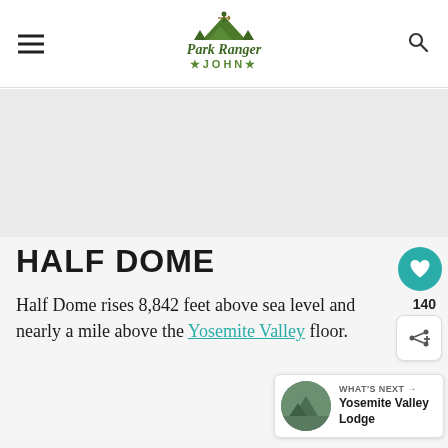Park Ranger John
HALF DOME
Half Dome rises 8,842 feet above sea level and nearly a mile above the Yosemite Valley floor.